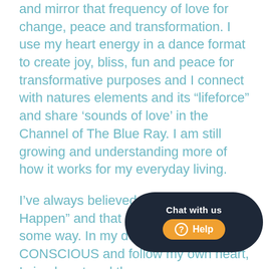and mirror that frequency of love for change, peace and transformation. I use my heart energy in a dance format to create joy, bliss, fun and peace for transformative purposes and I connect with natures elements and its “lifeforce” and share ‘sounds of love’ in the Channel of The Blue Ray. I am still growing and understanding more of how it works for my everyday living.
I’ve always believed that “Miracles Can Happen” and that I was born to help in some way. In my deep yearning to be CONSCIOUS and follow my own heart, I simply entered the searching... r since the connection to the ... stopped searching. It brings a fe... Divine LOVE and Peace into my heart and I
[Figure (other): Chat widget overlay with dark rounded rectangle containing 'Chat with us' text and an orange 'Help' button with a question mark icon]